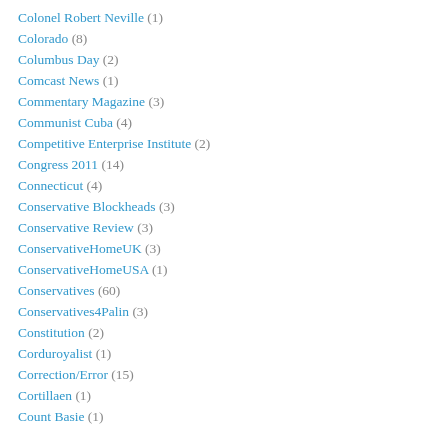Colonel Robert Neville (1)
Colorado (8)
Columbus Day (2)
Comcast News (1)
Commentary Magazine (3)
Communist Cuba (4)
Competitive Enterprise Institute (2)
Congress 2011 (14)
Connecticut (4)
Conservative Blockheads (3)
Conservative Review (3)
ConservativeHomeUK (3)
ConservativeHomeUSA (1)
Conservatives (60)
Conservatives4Palin (3)
Constitution (2)
Corduroyalist (1)
Correction/Error (15)
Cortillaen (1)
Count Basie (1)